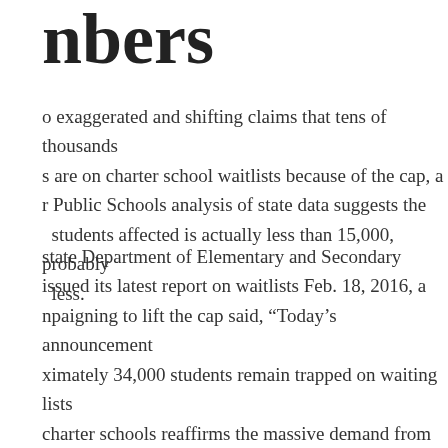nbers
o exaggerated and shifting claims that tens of thousands s are on charter school waitlists because of the cap, a r Public Schools analysis of state data suggests the students affected is actually less than 15,000, probably less.
state Department of Elementary and Secondary issued its latest report on waitlists Feb. 18, 2016, a npaigning to lift the cap said, “Today’s announcement ximately 34,000 students remain trapped on waiting lists charter schools reaffirms the massive demand from r these great public schools – and how vital it is that we immediately.”
r has made similar statements.
0 figure is down significantly from the 53,000 that the